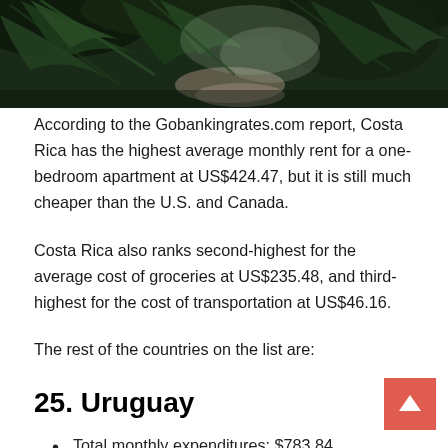[Figure (photo): Photograph of tropical palm fronds and foliage along a path, viewed from below/side angle with green jungle scenery]
According to the Gobankingrates.com report, Costa Rica has the highest average monthly rent for a one-bedroom apartment at US$424.47, but it is still much cheaper than the U.S. and Canada.
Costa Rica also ranks second-highest for the average cost of groceries at US$235.48, and third-highest for the cost of transportation at US$46.16.
The rest of the countries on the list are:
25. Uruguay
Total monthly expenditures: $783.84